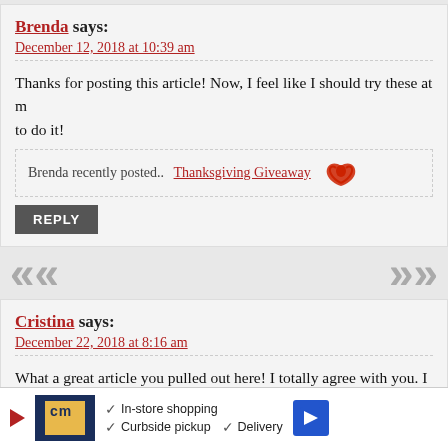Brenda says:
December 12, 2018 at 10:39 am
Thanks for posting this article! Now, I feel like I should try these at m... to do it!
Brenda recently posted.. Thanksgiving Giveaway
REPLY
Cristina says:
December 22, 2018 at 8:16 am
What a great article you pulled out here! I totally agree with you. I wa... realized I don't want that because the oiks are too pricey! No matter h... salespersons, I don't see the reason I would pay that much. I fina...
[Figure (other): Advertisement bar at bottom showing CM store logo with in-store shopping, curbside pickup, and delivery options]